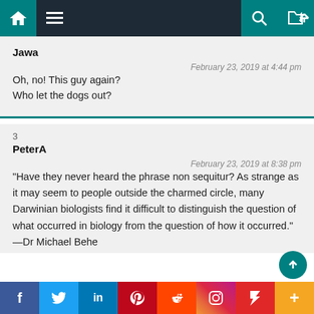Navigation bar with home, menu, search, and shuffle icons
Jawa
February 23, 2019 at 4:44 pm
Oh, no! This guy again?
Who let the dogs out?
3
PeterA
February 23, 2019 at 8:38 pm
“Have they never heard the phrase non sequitur? As strange as it may seem to people outside the charmed circle, many Darwinian biologists find it difficult to distinguish the question of what occurred in biology from the question of how it occurred.” —Dr Michael Behe
Social share bar: Facebook, Twitter, LinkedIn, Pinterest, Reddit, Instagram, Flipboard, More